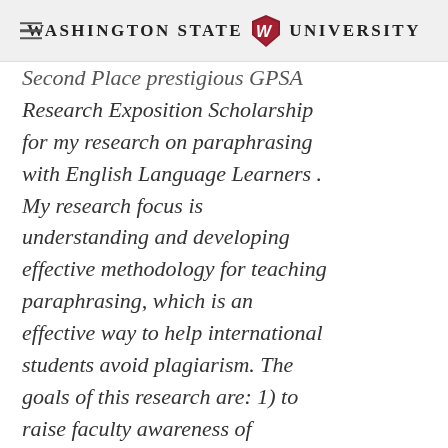Washington State University
Second Place prestigious GPSA Research Exposition Scholarship for my research on paraphrasing with English Language Learners . My research focus is understanding and developing effective methodology for teaching paraphrasing, which is an effective way to help international students avoid plagiarism. The goals of this research are: 1) to raise faculty awareness of international students' challenges with paraphrasing/ plagiarism; 2)